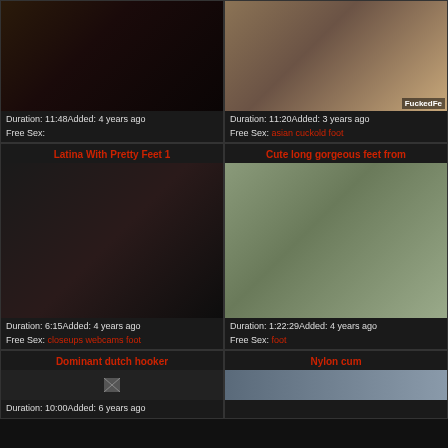[Figure (photo): Dark video thumbnail of adult content]
Duration: 11:48Added: 4 years ago
Free Sex:
[Figure (photo): Video thumbnail of woman sitting in chair, FuckedFe watermark]
Duration: 11:20Added: 3 years ago
Free Sex: asian cuckold foot
Latina With Pretty Feet 1
[Figure (photo): Adult video thumbnail]
Duration: 6:15Added: 4 years ago
Free Sex: closeups webcams foot
Cute long gorgeous feet from
[Figure (photo): Adult video thumbnail of woman on floor]
Duration: 1:22:29Added: 4 years ago
Free Sex: foot
Dominant dutch hooker
[Figure (photo): Small broken image placeholder]
Duration: 10:00Added: 6 years ago
Nylon cum
[Figure (photo): Adult video thumbnail partial view]